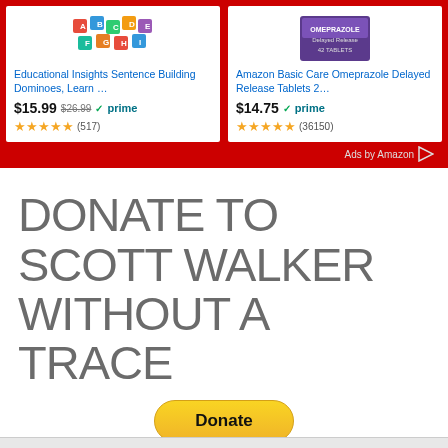[Figure (screenshot): Amazon product ad card: Educational Insights Sentence Building Dominoes. Price $15.99, was $26.99, Prime eligible. Rating 4.5 stars (517 reviews).]
[Figure (screenshot): Amazon product ad card: Amazon Basic Care Omeprazole Delayed Release Tablets. Price $14.75, Prime eligible. Rating 4.5 stars (36150 reviews).]
Ads by Amazon
DONATE TO SCOTT WALKER WITHOUT A TRACE
[Figure (infographic): PayPal Donate button (yellow rounded rectangle) with payment icons: Visa, Mastercard, Discover, American Express, and other cards below it. Text 'Amount: $' beneath.]